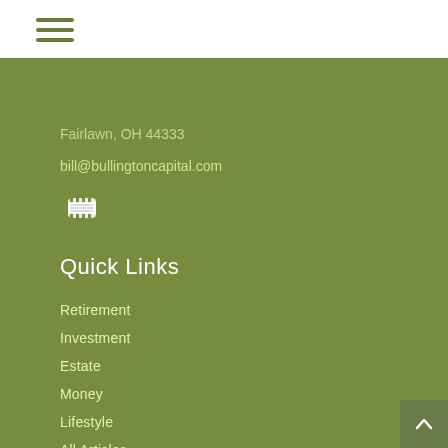[Figure (other): Hamburger menu icon with three horizontal lines]
Fairlawn, OH 44333
bill@bullingtoncapital.com
[Figure (logo): YouTube icon/logo]
Quick Links
Retirement
Investment
Estate
Money
Lifestyle
All Articles
All Videos
All Calculators